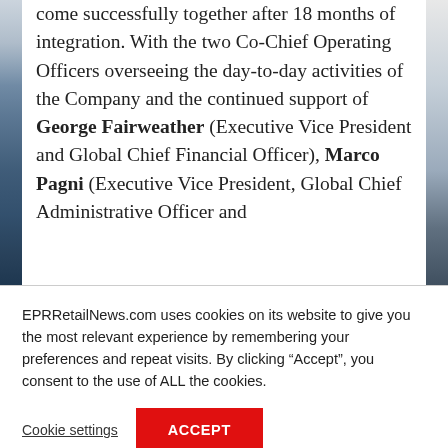come successfully together after 18 months of integration. With the two Co-Chief Operating Officers overseeing the day-to-day activities of the Company and the continued support of George Fairweather (Executive Vice President and Global Chief Financial Officer), Marco Pagni (Executive Vice President, Global Chief Administrative Officer and
EPRRetailNews.com uses cookies on its website to give you the most relevant experience by remembering your preferences and repeat visits. By clicking “Accept”, you consent to the use of ALL the cookies.
Cookie settings
ACCEPT